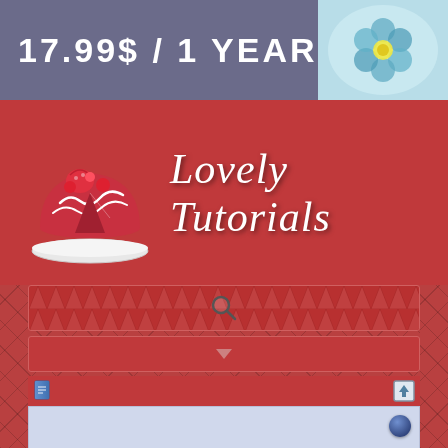17.99$ / 1 YEAR
[Figure (illustration): Blue floral decorative image in top right corner]
[Figure (logo): Lovely Tutorials website header with cake logo and italic script title text]
[Figure (screenshot): Website UI with search bar (pyramid pattern with magnifying glass), dropdown bar, toolbar with document and upload icons, blue content panel with blue circle icon, and white content panel with document icon and separator line]